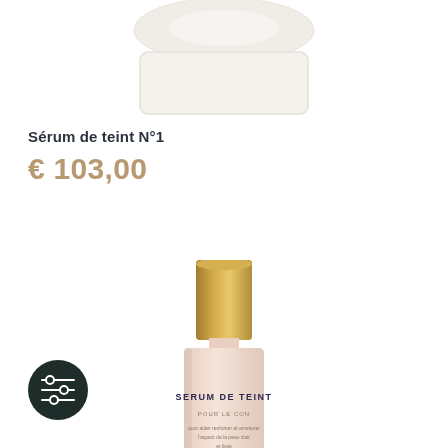[Figure (photo): Partial view of a cream/skincare jar product with beige/white coloring, cropped at top of page]
Sérum de teint N°1
€ 103,00
[Figure (photo): Serum bottle with gold cap and peach/nude colored body labeled SERUM DE TEINT]
[Figure (other): Dark circular filter/equalizer icon button in bottom left corner]